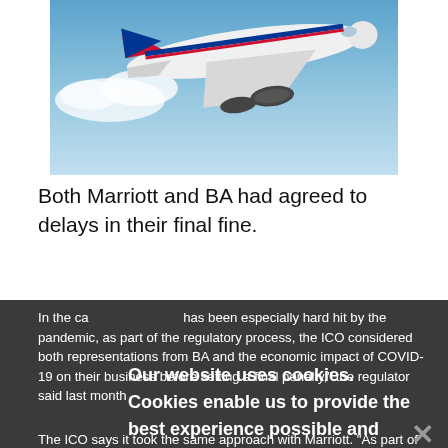[Figure (photo): British Airways airplane photographed from below against a blue sky, taking off or in flight.]
Both Marriott and BA had agreed to delays in their final fine.
In the case of BA, which has been especially hard hit by the pandemic, as part of the regulatory process, the ICO considered both representations from BA and the economic impact of COVID-19 on their business before setting a final penalty," the regulator said last month
The ICO says it took the same approach with Marriott. "As part of the regulatory process, the ICO considered representations from Marriott, the steps Marriott took to mitigate the impact of the incident and the economic impact of COVID-19 on their business before setting a final
Our website uses cookies. Cookies enable us to provide the best experience possible and help us understand how visitors use our website. By browsing databreachtoday.com, you agree to our use of cookies.